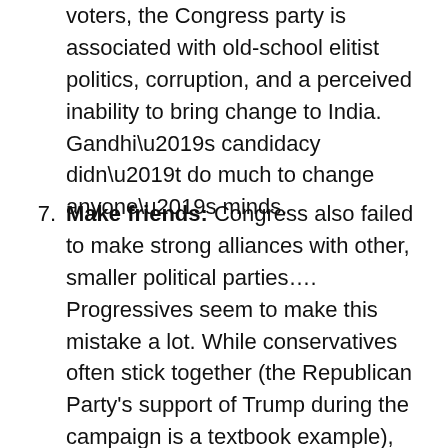voters, the Congress party is associated with old-school elitist politics, corruption, and a perceived inability to bring change to India. Gandhi’s candidacy didn’t do much to change anyone’s minds.
7. Make friends: Congress also failed to make strong alliances with other, smaller political parties…. Progressives seem to make this mistake a lot. While conservatives often stick together (the Republican Party’s support of Trump during the campaign is a textbook example), liberals often fail to find common ground. In the last presidential